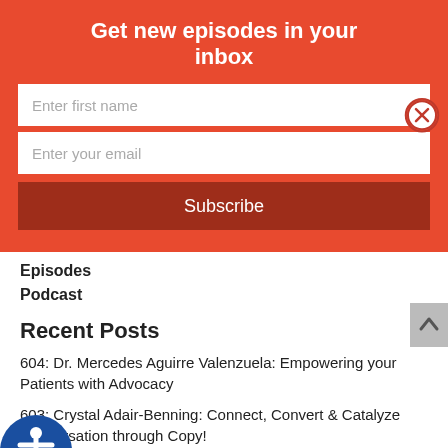Get new episodes in your inbox
Enter first name
Enter your email
Subscribe
Episodes
Podcast
Recent Posts
604: Dr. Mercedes Aguirre Valenzuela: Empowering your Patients with Advocacy
603: Crystal Adair-Benning: Connect, Convert & Catalyze Conversation through Copy!
602: Dr. Katie O'Bright: The Primary Care Physical Therapist